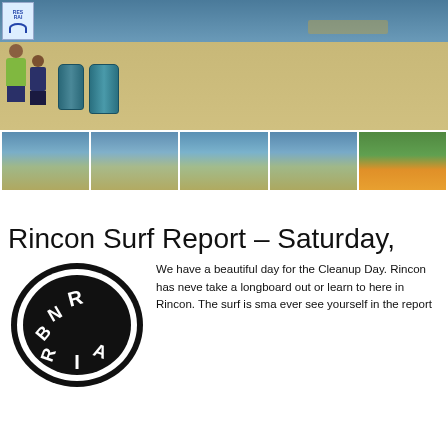[Figure (photo): Beach scene with two people standing near blue trash barrels on sandy beach, water visible in background, a sign visible in upper left corner]
[Figure (photo): Strip of five thumbnail photos: four showing ocean waves and beach scenes, one showing orange/yellow flowers]
Rincon Surf Report – Saturday,
[Figure (logo): Circular black and white Rincon surf logo with stylized text]
We have a beautiful day for the Cleanup Day. Rincon has neve take a longboard out or learn to here in Rincon. The surf is sma ever see yourself in the report